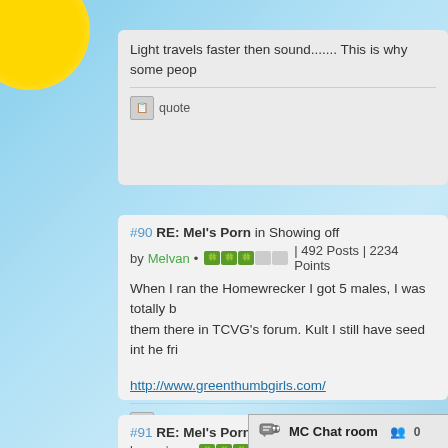Light travels faster then sound....... This is why some peop
quote
#90 RE: Mel's Porn in Showing off
by Melvan • [rank bar] | 492 Posts | 2234 Points
When I ran the Homewrecker I got 5 males, I was totally b... them there in TCVG's forum. Kult I still have seed int he fri...
http://www.greenthumbgirls.com/
quote
#91 RE: Mel's Porn in Showing off
by umbra • [rank bar] | 780 Posts | 4085 Points
no need to worry Crazy gave m...
MC Chat room 0